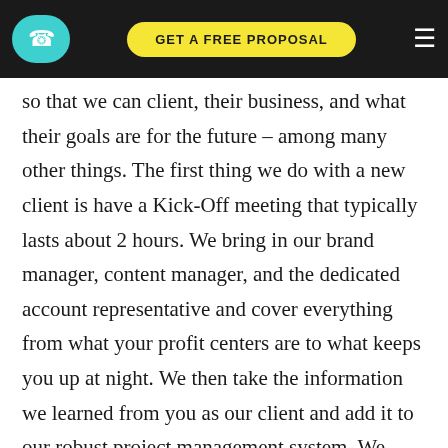GET A FREE PROPOSAL
so that we can client, their business, and what their goals are for the future – among many other things. The first thing we do with a new client is have a Kick-Off meeting that typically lasts about 2 hours. We bring in our brand manager, content manager, and the dedicated account representative and cover everything from what your profit centers are to what keeps you up at night. We then take the information we learned from you as our client and add it to our robust project management system. We then collect any additional information we can from you such as images, brochures, and marketing collateral and